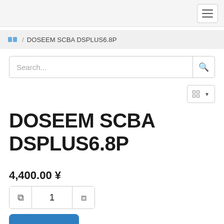Navigation bar with hamburger menu
□□ / DOSEEM SCBA DSPLUS6.8P
Search...
□□□□ ▾
DOSEEM SCBA DSPLUS6.8P
4,400.00 ¥
1
□□□□□